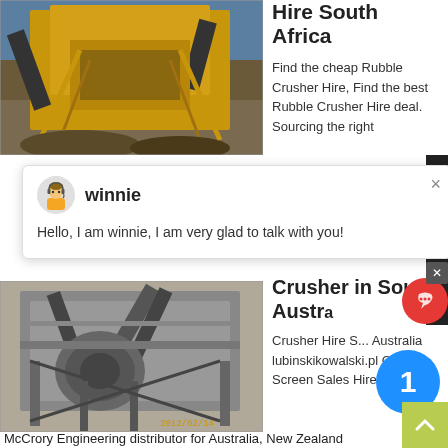[Figure (photo): Yellow industrial rubble crusher / screening machine at a mining site with rocky terrain and cloudy sky]
Hire South Africa
Find the cheap Rubble Crusher Hire, Find the best Rubble Crusher Hire deal. Sourcing the right
[Figure (screenshot): Chat popup with avatar of a support agent named winnie. Message: Hello, I am winnie, I am very glad to talk with you!]
[Figure (photo): Grey industrial crusher screening machine on a construction site, dated 2012/02/14]
Crusher in South Austr...
Crusher Hire S... Australia lubinskikowalski.pl Crusher Screen Sales Hire are the
McCrory Engineering distributor for Australia, New Zealand